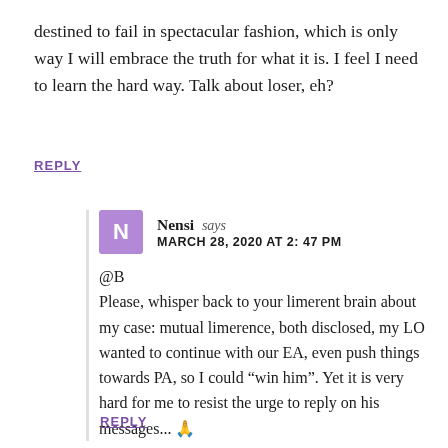destined to fail in spectacular fashion, which is only way I will embrace the truth for what it is. I feel I need to learn the hard way. Talk about loser, eh?
REPLY
Nensi says
MARCH 28, 2020 AT 2: 47 PM
@B
Please, whisper back to your limerent brain about my case: mutual limerence, both disclosed, my LO wanted to continue with our EA, even push things towards PA, so I could “win him”. Yet it is very hard for me to resist the urge to reply on his messages... 🙏
REPLY